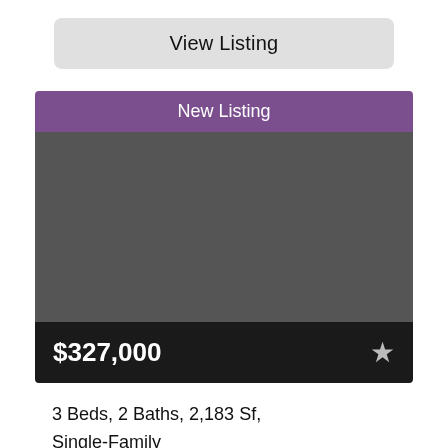View Listing
[Figure (screenshot): New Listing card with purple banner, gray image placeholder, dark price bar showing $327,000 and a star icon]
3 Beds, 2 Baths, 2,183 Sf, Single-Family
2802 Lockeridge Pines Dr, Spring, Texas
Opendoor Brokerage, LLC